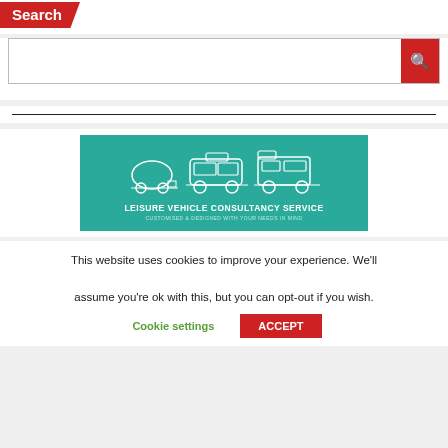Search
[Figure (screenshot): Search input box with red search button containing a magnifying glass icon]
[Figure (illustration): Horizontal divider line]
[Figure (logo): Leisure Vehicle Consultancy Service banner on teal background with outline drawings of a teardrop trailer, VW campervan, and motorhome. Text: LEISURE VEHICLE CONSULTANCY SERVICE. Subtitle: CUSTOMISED & DESIGNED WITH YOUR NEEDS IN MIND]
This website uses cookies to improve your experience. We'll assume you're ok with this, but you can opt-out if you wish.
Cookie settings   ACCEPT